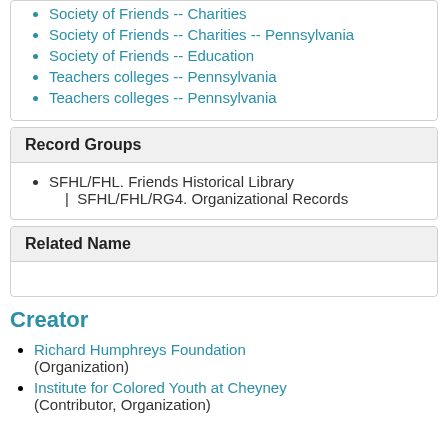Society of Friends -- Charities
Society of Friends -- Charities -- Pennsylvania
Society of Friends -- Education
Teachers colleges -- Pennsylvania
Teachers colleges -- Pennsylvania
Record Groups
SFHL/FHL. Friends Historical Library | SFHL/FHL/RG4. Organizational Records
Related Name
Creator
Richard Humphreys Foundation (Organization)
Institute for Colored Youth at Cheyney (Contributor, Organization)